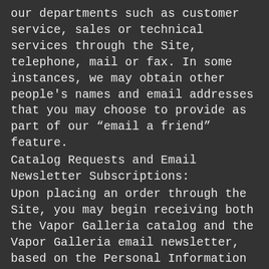our departments such as customer service, sales or technical services through the Site, telephone, mail or fax. In some instances, we may obtain other people's names and email addresses that you may choose to provide as part of our “email a friend” feature.
Catalog Requests and Email Newsletter Subscriptions:
Upon placing an order through the Site, you may begin receiving both the Vapor Galleria catalog and the Vapor Galleria email newsletter, based on the Personal Information you have provided, unless you opt-out of receiving such communications. If you request an email newsletter